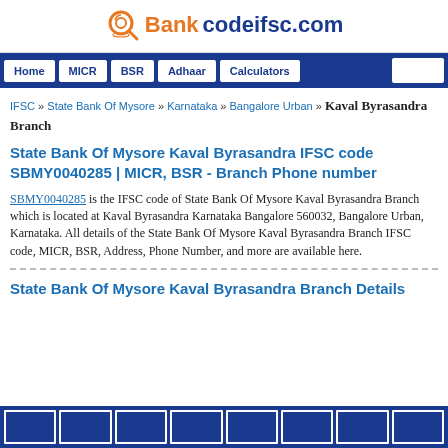Bankcodeifsc.com
Home | MICR | BSR | Adhaar | Calculators
IFSC » State Bank Of Mysore » Karnataka » Bangalore Urban » Kaval Byrasandra Branch
State Bank Of Mysore Kaval Byrasandra IFSC code SBMY0040285 | MICR, BSR - Branch Phone number
SBMY0040285 is the IFSC code of State Bank Of Mysore Kaval Byrasandra Branch which is located at Kaval Byrasandra Karnataka Bangalore 560032, Bangalore Urban, Karnataka. All details of the State Bank Of Mysore Kaval Byrasandra Branch IFSC code, MICR, BSR, Address, Phone Number, and more are available here.
State Bank Of Mysore Kaval Byrasandra Branch Details